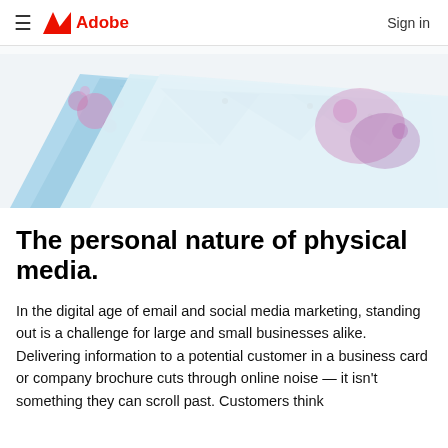≡  Adobe  Sign in
[Figure (photo): Fanned-out stack of printed cards with abstract geometric blue and pink/purple watercolor artwork designs, viewed from above at an angle.]
The personal nature of physical media.
In the digital age of email and social media marketing, standing out is a challenge for large and small businesses alike. Delivering information to a potential customer in a business card or company brochure cuts through online noise — it isn't something they can scroll past. Customers think